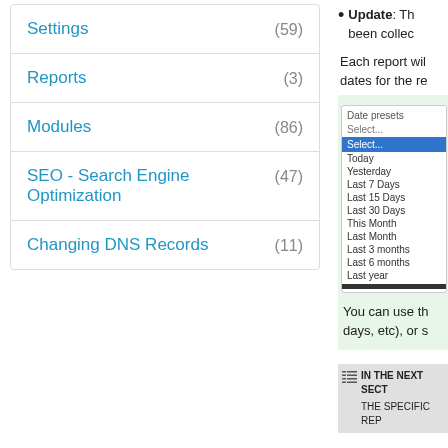Settings (59)
Reports (3)
Modules (86)
SEO - Search Engine Optimization (47)
Changing DNS Records (11)
Update: Th... been collec...
Each report wil... dates for the re...
[Figure (screenshot): A dropdown menu showing date preset options: Select..., Today, Yesterday, Last 7 Days, Last 15 Days, Last 30 Days, This Month, Last Month, Last 3 months, Last 6 months, Last year]
You can use th... days, etc), or s...
IN THE NEXT SECT...
THE SPECIFIC REP...